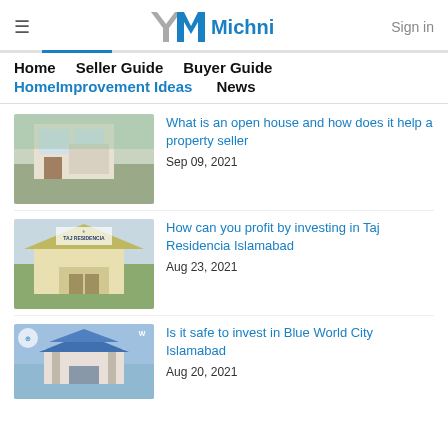YM Michni — Sign in
Home   Seller Guide   Buyer Guide   Home Improvement Ideas   News
What is an open house and how does it help a property seller
Sep 09, 2021
How can you profit by investing in Taj Residencia Islamabad
Aug 23, 2021
Is it safe to invest in Blue World City Islamabad
Aug 20, 2021